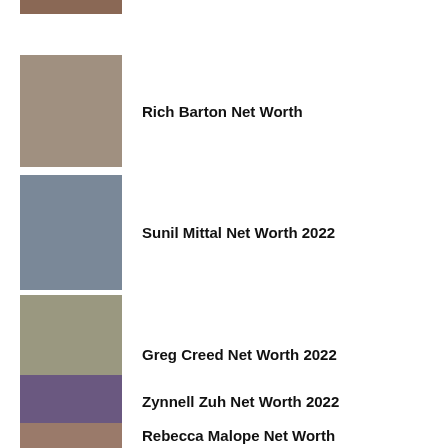[Figure (photo): Portrait photo of a man (partially visible at top)]
Rich Barton Net Worth
[Figure (photo): Portrait photo of Rich Barton, man with glasses]
Sunil Mittal Net Worth 2022
[Figure (photo): Portrait photo of Sunil Mittal]
Greg Creed Net Worth 2022
[Figure (photo): Portrait photo of Greg Creed, man with glasses in suit]
Zynnell Zuh Net Worth 2022
[Figure (photo): Portrait photo of Zynnell Zuh, woman in blue outfit]
Rebecca Malope Net Worth
[Figure (photo): Portrait photo of Rebecca Malope (partially visible at bottom)]